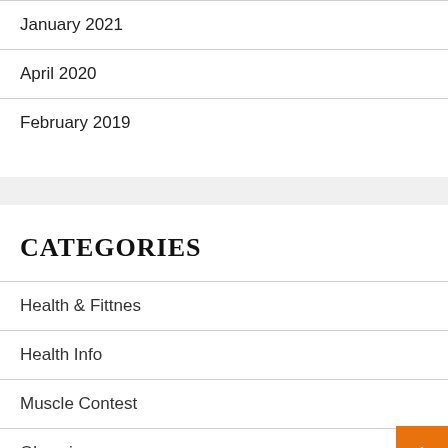January 2021
April 2020
February 2019
CATEGORIES
Health & Fittnes
Health Info
Muscle Contest
Olympic